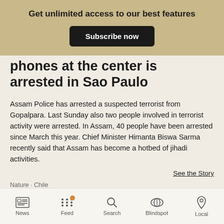Get unlimited access to our best features
Subscribe now
phones at the center is arrested in Sao Paulo
Assam Police has arrested a suspected terrorist from Gopalpara. Last Sunday also two people involved in terrorist activity were arrested. In Assam, 40 people have been arrested since March this year. Chief Minister Himanta Biswa Sarma recently said that Assam has become a hotbed of jihadi activities.
See the Story
Nature · Chile
New bird species is identified in remote
News | Feed | Search | Blindspot | Local